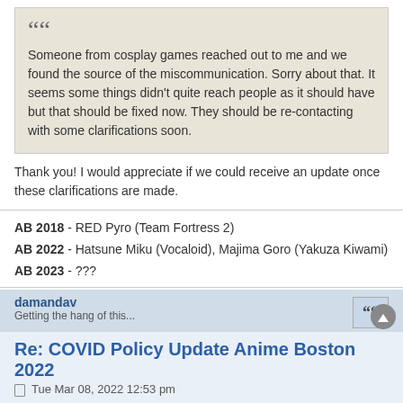Someone from cosplay games reached out to me and we found the source of the miscommunication. Sorry about that. It seems some things didn't quite reach people as it should have but that should be fixed now. They should be re-contacting with some clarifications soon.
Thank you! I would appreciate if we could receive an update once these clarifications are made.
AB 2018 - RED Pyro (Team Fortress 2)
AB 2022 - Hatsune Miku (Vocaloid), Majima Goro (Yakuza Kiwami)
AB 2023 - ???
damandav
Getting the hang of this...
Re: COVID Policy Update Anime Boston 2022
Tue Mar 08, 2022 12:53 pm
Would it be possible to have like stickers that can go on our convention badges to show our vaccine cards have been checked? Or will they be checked every time we enter